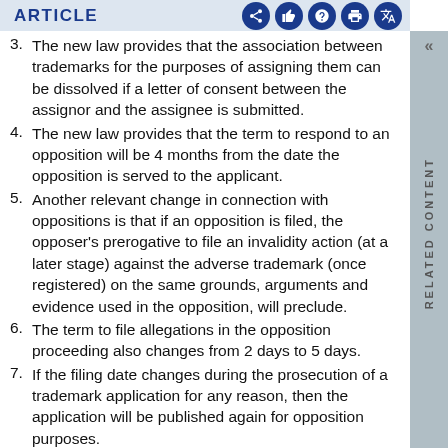ARTICLE
3. The new law provides that the association between trademarks for the purposes of assigning them can be dissolved if a letter of consent between the assignor and the assignee is submitted.
4. The new law provides that the term to respond to an opposition will be 4 months from the date the opposition is served to the applicant.
5. Another relevant change in connection with oppositions is that if an opposition is filed, the opposer's prerogative to file an invalidity action (at a later stage) against the adverse trademark (once registered) on the same grounds, arguments and evidence used in the opposition, will preclude.
6. The term to file allegations in the opposition proceeding also changes from 2 days to 5 days.
7. If the filing date changes during the prosecution of a trademark application for any reason, then the application will be published again for opposition purposes.
Under separate and successive communications, OLIVARES will be focusing on each one of the items above, providing you with the analysis and details of these new actions and changes implemented in the Federal Law for